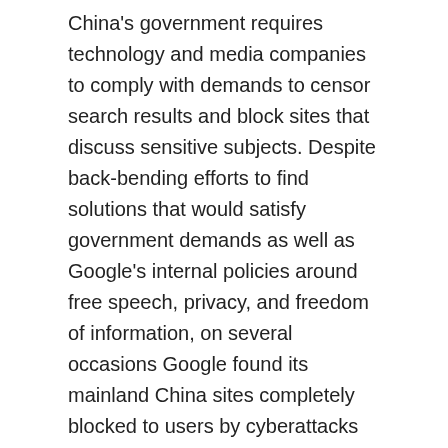China's government requires technology and media companies to comply with demands to censor search results and block sites that discuss sensitive subjects. Despite back-bending efforts to find solutions that would satisfy government demands as well as Google's internal policies around free speech, privacy, and freedom of information, on several occasions Google found its mainland China sites completely blocked to users by cyberattacks backed, in all likelihood, by the Chinese government.
In 2010, Google finally pulled its search engine and related services from the Chinese market. It faced a seemingly insurmountable problem around how to make its products fit not only consumer needs and preferences in China, but also the rigorous regulatory environment around digital information. Google is not alone in facing this challenge. According to